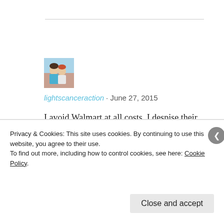[Figure (photo): Small square avatar photo of two people, partially cropped]
lightscanceraction · June 27, 2015
I avoid Walmart at all costs. I despise their business practices, their stores are always a crowded mess, and the employees do not know the meaning of customer service. Good for you!
Privacy & Cookies: This site uses cookies. By continuing to use this website, you agree to their use.
To find out more, including how to control cookies, see here: Cookie Policy
Close and accept